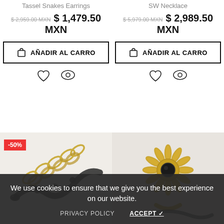Tassel Snakes Earrings
$ 2,959.00 MXN  $ 1,479.50 MXN
SW Necklace
$ 5,979.00 MXN  $ 2,989.50 MXN
AÑADIR AL CARRO
AÑADIR AL CARRO
[Figure (photo): Gold chain bracelet with dark snake detail, -50% discount badge]
[Figure (photo): Gold sunflower-style ring with dark stone]
We use cookies to ensure that we give you the best experience on our website.
PRIVACY POLICY
ACCEPT ✓